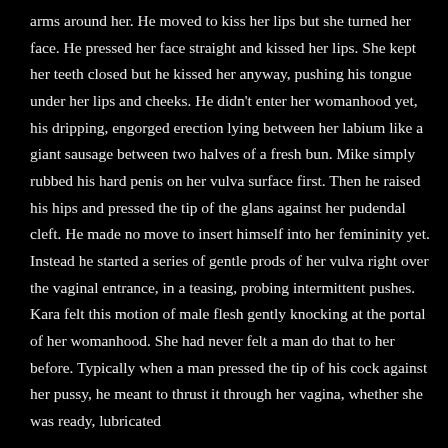arms around her. He moved to kiss her lips but she turned her face. He pressed her face straight and kissed her lips. She kept her teeth closed but he kissed her anyway, pushing his tongue under her lips and cheeks. He didn't enter her womanhood yet, his dripping, engorged erection lying between her labium like a giant sausage between two halves of a fresh bun. Mike simply rubbed his hard penis on her vulva surface first. Then he raised his hips and pressed the tip of the glans against her pudendal cleft. He made no move to insert himself into her femininity yet. Instead he started a series of gentle prods of her vulva right over the vaginal entrance, in a teasing, probing intermittent pushes. Kara felt this motion of male flesh gently knocking at the portal of her womanhood. She had never felt a man do that to her before. Typically when a man pressed the tip of his cock against her pussy, he meant to thrust it through her vagina, whether she was ready, lubricated